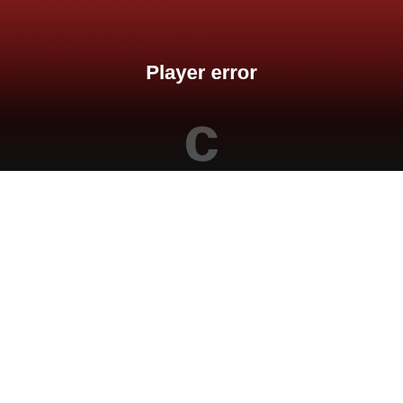Player error
The player is having trouble. We'll have it back up and running as soon as possible.
[Figure (photo): A red fabric item (underwear/shorts) with a white printed logo reading 'WHERE'S YOUR PERI?' in a rectangular box design, against a pinkish-beige background.]